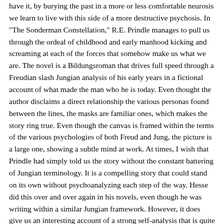have it, by burying the past in a more or less comfortable neurosis we learn to live with this side of a more destructive psychosis. In "The Sonderman Constellation," R.E. Prindle manages to pull us through the ordeal of childhood and early manhood kicking and screaming at each of the forces that somehow make us what we are. The novel is a Bildungsroman that drives full speed through a Freudian slash Jungian analysis of his early years in a fictional account of what made the man who he is today. Even thought the author disclaims a direct relationship the various personas found between the lines, the masks are familiar ones, which makes the story ring true. Even though the canvas is framed within the terms of the various psychologies of both Freud and Jung, the picture is a large one, showing a subtle mind at work. At times, I wish that Prindle had simply told us the story without the constant battering of Jungian terminology. It is a compelling story that could stand on its own without psychoanalyzing each step of the way. Hesse did this over and over again in his novels, even though he was writing within a similar Jungian framework. However, it does give us an interesting account of a strong self-analysis that is quite remarkable. Yet, I must admit the story is more than a simple case-study. The fictional writing is strong enough to overcome what might seem to be an